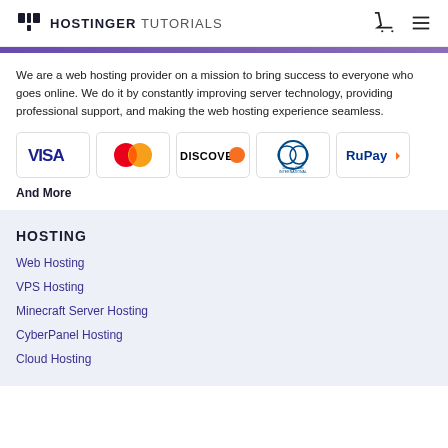HOSTINGER TUTORIALS
We are a web hosting provider on a mission to bring success to everyone who goes online. We do it by constantly improving server technology, providing professional support, and making the web hosting experience seamless.
[Figure (other): Payment method logos: VISA, Mastercard, Discover, Diners Club International, RuPay]
And More
HOSTING
Web Hosting
VPS Hosting
Minecraft Server Hosting
CyberPanel Hosting
Cloud Hosting